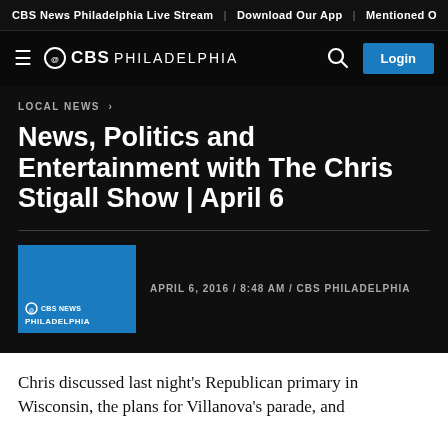CBS News Philadelphia Live Stream | Download Our App | Mentioned O
[Figure (logo): CBS Philadelphia logo with hamburger menu, search icon, and Login button on black background]
LOCAL NEWS ›
News, Politics and Entertainment with The Chris Stigall Show | April 6
[Figure (photo): CBS News Philadelphia blue thumbnail image]
APRIL 6, 2016 / 8:48 AM / CBS PHILADELPHIA
Chris discussed last night's Republican primary in Wisconsin, the plans for Villanova's parade, and